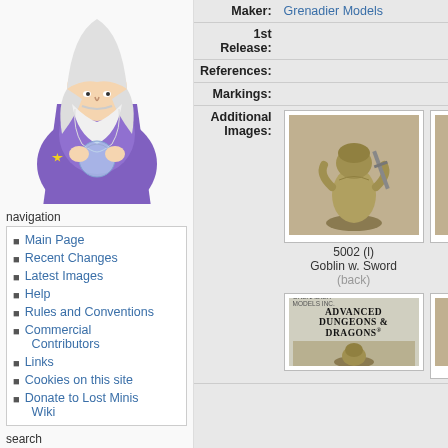[Figure (illustration): Wizard character illustration in purple robes with stars, holding a crystal ball, white beard and hat]
navigation
Main Page
Recent Changes
Latest Images
Help
Rules and Conventions
Commercial Contributors
Links
Cookies on this site
Donate to Lost Minis Wiki
search
| Label | Value |
| --- | --- |
| Maker: | Grenadier Models |
| 1st Release: |  |
| References: |  |
| Markings: |  |
| Additional Images: |  |
[Figure (photo): Metal miniature figure of a goblin with sword, gold/bronze colored, back view, labeled 5002 (l) Goblin w. Sword (back)]
5002 (l)
Goblin w. Sword
(back)
[Figure (photo): Advertisement image for Advanced Dungeons & Dragons by Grenadier Models Inc.]